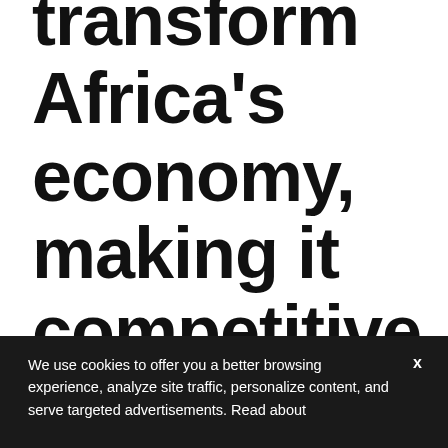transform Africa's economy, making it competitive on a global level and …
We use cookies to offer you a better browsing experience, analyze site traffic, personalize content, and serve targeted advertisements. Read about